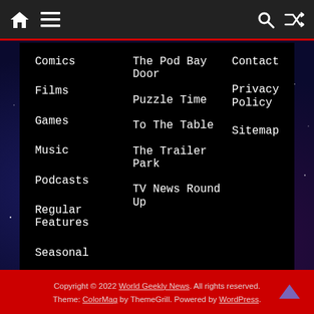Home | Menu | Search | Shuffle
Comics
Films
Games
Music
Podcasts
Regular Features
Seasonal
TV
The Pod Bay Door
Puzzle Time
To The Table
The Trailer Park
TV News Round Up
Contact
Privacy Policy
Sitemap
Copyright © 2022 World Geekly News. All rights reserved. Theme: ColorMag by ThemeGrill. Powered by WordPress.